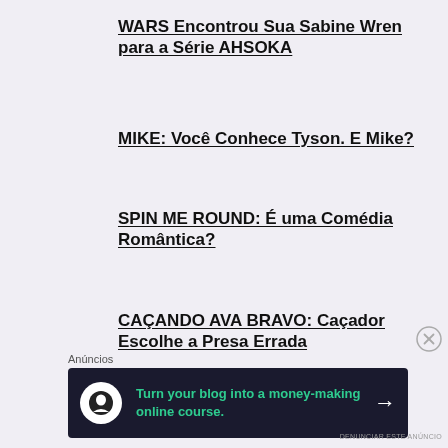WARS Encontrou Sua Sabine Wren para a Série AHSOKA
MIKE: Você Conhece Tyson. E Mike?
SPIN ME ROUND: É uma Comédia Romântica?
CAÇANDO AVA BRAVO: Caçador Escolhe a Presa Errada
Anúncios
[Figure (screenshot): Advertisement banner: 'Turn your blog into a money-making online course.' with arrow button on dark background]